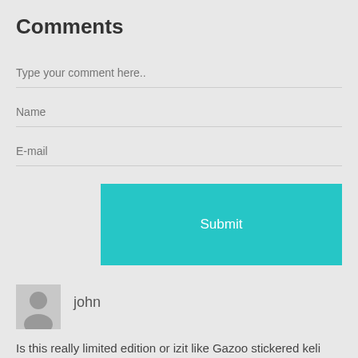Comments
Type your comment here..
Name
E-mail
Submit
[Figure (illustration): User avatar placeholder icon (grey silhouette)]
john
Is this really limited edition or izit like Gazoo stickered keli "limited" edition?
Like or Dislike: 11 8 Reply